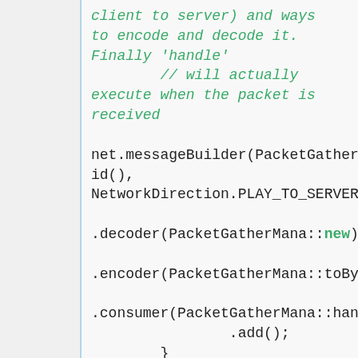[Figure (screenshot): Code snippet showing Java networking code with comments in green italic and keywords in red/blue. Shows messageBuilder call, decoder, encoder, consumer methods, and a sendToServer method definition.]